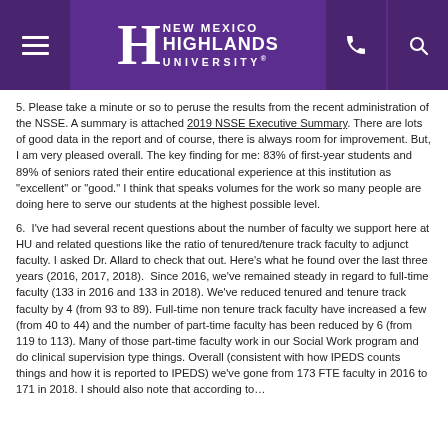New Mexico Highlands University
5. Please take a minute or so to peruse the results from the recent administration of the NSSE. A summary is attached 2019 NSSE Executive Summary. There are lots of good data in the report and of course, there is always room for improvement. But, I am very pleased overall. The key finding for me: 83% of first-year students and 89% of seniors rated their entire educational experience at this institution as “excellent” or “good.” I think that speaks volumes for the work so many people are doing here to serve our students at the highest possible level.
6.  I’ve had several recent questions about the number of faculty we support here at HU and related questions like the ratio of tenured/tenure track faculty to adjunct faculty. I asked Dr. Allard to check that out. Here’s what he found over the last three years (2016, 2017, 2018).  Since 2016, we’ve remained steady in regard to full-time faculty (133 in 2016 and 133 in 2018). We’ve reduced tenured and tenure track faculty by 4 (from 93 to 89). Full-time non tenure track faculty have increased a few (from 40 to 44) and the number of part-time faculty has been reduced by 6 (from 119 to 113). Many of those part-time faculty work in our Social Work program and do clinical supervision type things. Overall (consistent with how IPEDS counts things and how it is reported to IPEDS) we’ve gone from 173 FTE faculty in 2016 to 171 in 2018. I should also note that according to…